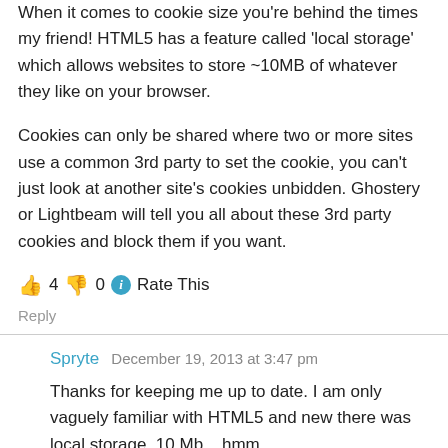When it comes to cookie size you're behind the times my friend! HTML5 has a feature called 'local storage' which allows websites to store ~10MB of whatever they like on your browser.
Cookies can only be shared where two or more sites use a common 3rd party to set the cookie, you can't just look at another site's cookies unbidden. Ghostery or Lightbeam will tell you all about these 3rd party cookies and block them if you want.
👍 4 👎 0 ℹ Rate This
Reply
Spryte   December 19, 2013 at 3:47 pm
Thanks for keeping me up to date. I am only vaguely familiar with HTML5 and new there was local storage. 10 Mb... hmm